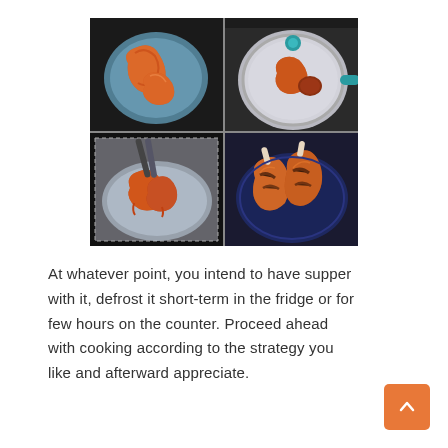[Figure (photo): A 2x2 grid of food preparation photos showing orange/buffalo-style chicken pieces: top-left shows chicken pieces on a blue plate with dark background, top-right shows a pan with glass lid and teal handle containing chicken, bottom-left shows chicken pieces being cooked in a glass bowl with foil, bottom-right shows cooked chicken drumsticks on a dark blue plate.]
At whatever point, you intend to have supper with it, defrost it short-term in the fridge or for few hours on the counter. Proceed ahead with cooking according to the strategy you like and afterward appreciate.